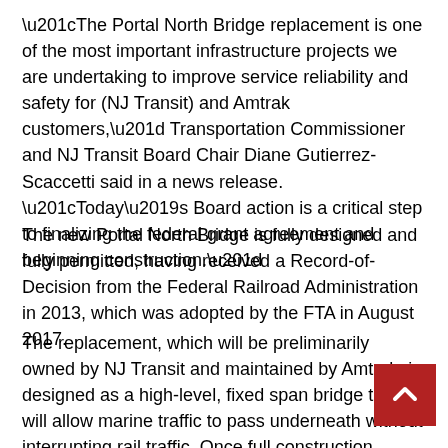“The Portal North Bridge replacement is one of the most important infrastructure projects we are undertaking to improve service reliability and safety for (NJ Transit) and Amtrak customers,” Transportation Commissioner and NJ Transit Board Chair Diane Gutierrez-Scaccetti said in a news release. “Today’s Board action is a critical step to finalizing the federal grant agreement and beginning construction.”
The new Portal North Bridge is fully designed and fully permitted, having received a Record-of-Decision from the Federal Railroad Administration in 2013, which was adopted by the FTA in August 2017.
The replacement, which will be preliminarily owned by NJ Transit and maintained by Amtrak, is designed as a high-level, fixed span bridge that will allow marine traffic to pass underneath without interrupting rail traffic. Once full construction begins, the remainder of the Portal North Bridge Project is estimated to approximately five years.